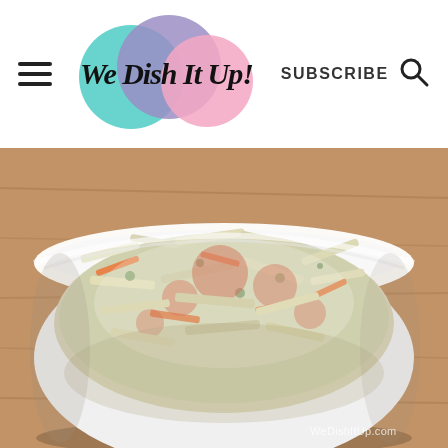We Dish It Up! | SUBSCRIBE
[Figure (photo): A white bowl filled with creamy coleslaw topped with reddish-orange paprika/seasoning, shredded carrots visible, served in a round white bowl on a wooden surface. Watermark reads WeDishItUp.com]